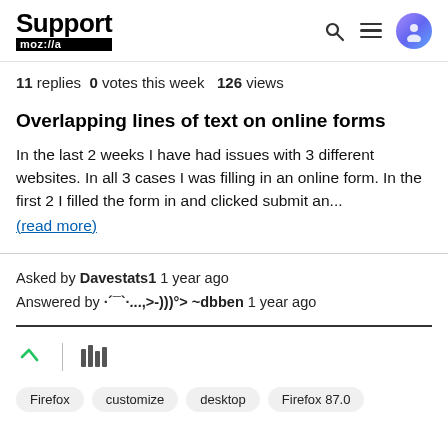Support mozilla | search, menu, user icons
11 replies  0  votes this week  126  views
Overlapping lines of text on online forms
In the last 2 weeks I have had issues with 3 different websites. In all 3 cases I was filling in an online form. In the first 2 I filled the form in and clicked submit an...
(read more)
Asked by Davestats1 1 year ago
Answered by ·´¯`·...,>-)))°> ~dbben 1 year ago
Firefox
customize
desktop
Firefox 87.0